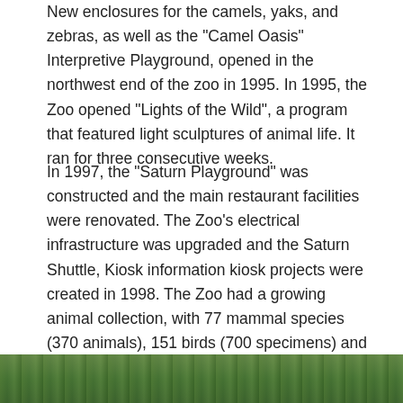New enclosures for the camels, yaks, and zebras, as well as the "Camel Oasis" Interpretive Playground, opened in the northwest end of the zoo in 1995. In 1995, the Zoo opened "Lights of the Wild", a program that featured light sculptures of animal life. It ran for three consecutive weeks.
In 1997, the "Saturn Playground" was constructed and the main restaurant facilities were renovated. The Zoo's electrical infrastructure was upgraded and the Saturn Shuttle, Kiosk information kiosk projects were created in 1998. The Zoo had a growing animal collection, with 77 mammal species (370 animals), 151 birds (700 specimens) and 14 reptiles (33.4 specimens). In 1998 the Zoo budget was $2,497.173. ($161,800 food and supplies and $1,952,707 labour).
[Figure (photo): Partial view of a green outdoor scene, likely zoo foliage or landscape, visible at the bottom of the page.]